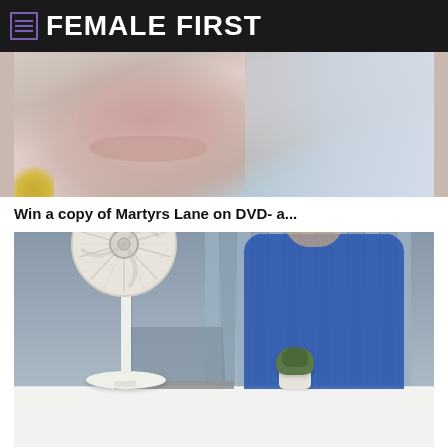FEMALE FIRST
[Figure (photo): Close-up of a person's face showing skin with redness/acne condition, blurred background]
Win a copy of Martyrs Lane on DVD- a...
[Figure (photo): A white pedestal fan on a desk in front of a person wearing a blue top working on a laptop, with a small succulent plant on the desk and vertical blinds in the background]